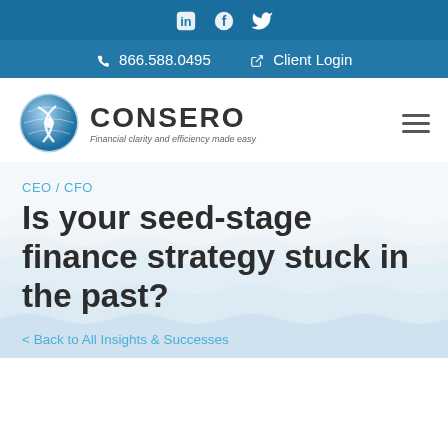Social icons: LinkedIn, Facebook, Twitter
866.588.0495  Client Login
[Figure (logo): Consero logo — globe icon with CONSERO wordmark and tagline 'Financial clarity and efficiency made easy']
CEO / CFO
Is your seed-stage finance strategy stuck in the past?
< Back to All Insights & Successes